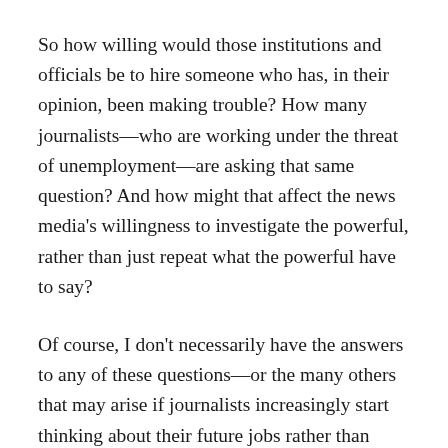So how willing would those institutions and officials be to hire someone who has, in their opinion, been making trouble? How many journalists—who are working under the threat of unemployment—are asking that same question? And how might that affect the news media's willingness to investigate the powerful, rather than just repeat what the powerful have to say?
Of course, I don't necessarily have the answers to any of these questions—or the many others that may arise if journalists increasingly start thinking about their future jobs rather than their present jobs. Moreover, it's important to remember there are many reporters for whom the public trust will always come before any